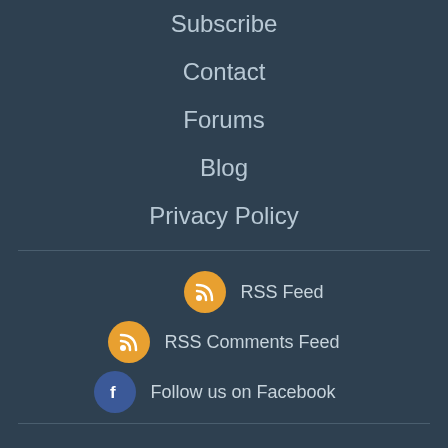Subscribe
Contact
Forums
Blog
Privacy Policy
RSS Feed
RSS Comments Feed
Follow us on Facebook
© 2006 - 2022 giveawayoftheday.com. All rights reserved. Patent Pending.